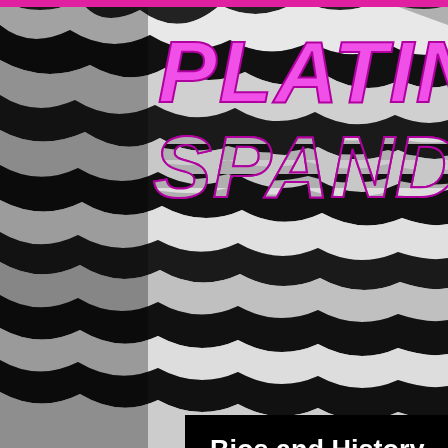[Figure (illustration): Zebra print background in black and white covering the entire page]
PLATINUM SPANDEX
[Figure (other): Hamburger/navigation menu button icon with three horizontal lines]
Bios and History (Click pics for more)
[Figure (photo): Photo of Tommy Platinum - person with long blonde hair, pink/purple striped headband, dark sunglasses, and fishnet gloves]
Tommy Platinum - Lead Face Melter / Auxiliary Percussion
Tommy Platinum is a native of the Puget Sound, born in Bothell